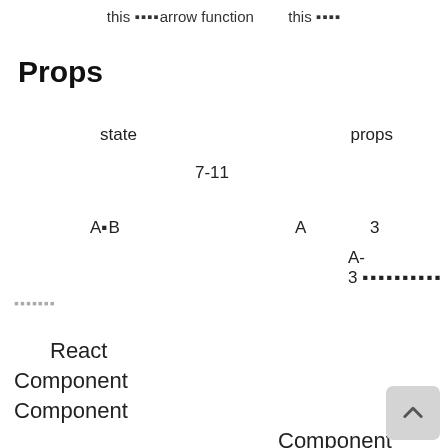this ▪▪▪▪arrow function   this ▪▪▪▪
Props
state                                    props
7-11
A▪B                          A    3
A-3  ▪▪▪▪▪▪▪▪▪▪
▪▪▪▪▪▪▪
React
Component
Component
Component